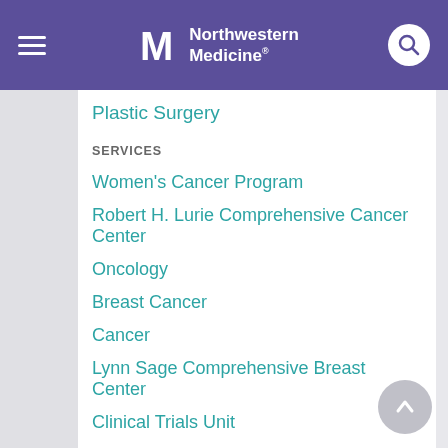Northwestern Medicine
Plastic Surgery
SERVICES
Women's Cancer Program
Robert H. Lurie Comprehensive Cancer Center
Oncology
Breast Cancer
Cancer
Lynn Sage Comprehensive Breast Center
Clinical Trials Unit
Internal Medicine
Healthy Transitions
Convenient Care Clinic